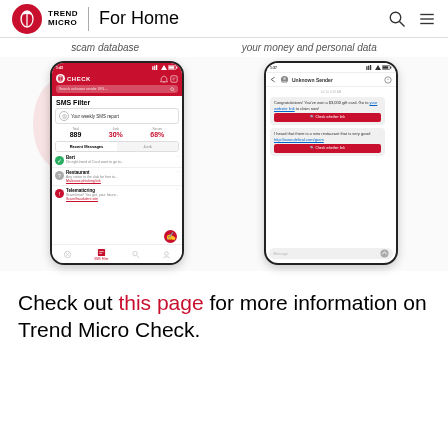Trend Micro | For Home
scam database   your money and personal data
[Figure (screenshot): Two mobile phone screenshots of Trend Micro Check app. Left phone shows SMS Filter screen with weekly SMS report stats (889 Total, 30% Junk, 68% Secure) and message list. Right phone shows a chat with Unknown Sender containing scam check buttons.]
Check out this page for more information on Trend Micro Check.